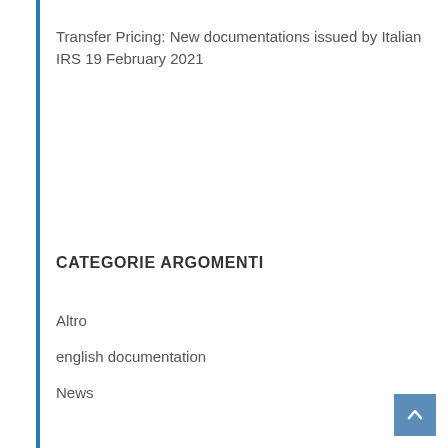Transfer Pricing: New documentations issued by Italian IRS 19 February 2021
CATEGORIE ARGOMENTI
Altro
english documentation
News